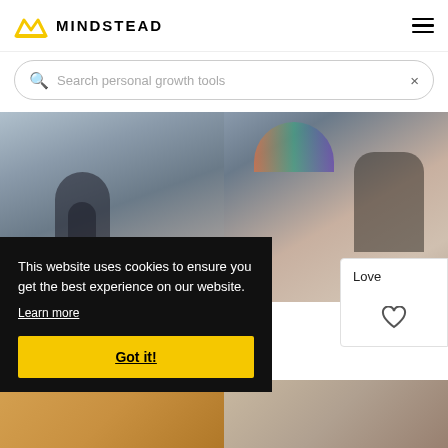MINDSTEAD
Search personal growth tools
[Figure (photo): Woman with red hair looking sideways in winter, dark coat, bridge in background]
[Figure (photo): Couple close together, woman with striped beanie hat and blonde hair, man with dark hair]
Love
[Figure (photo): Person with yellow/orange tones, bottom of page left]
[Figure (photo): Person or object with muted tones, bottom of page right]
This website uses cookies to ensure you get the best experience on our website. Learn more
Got it!